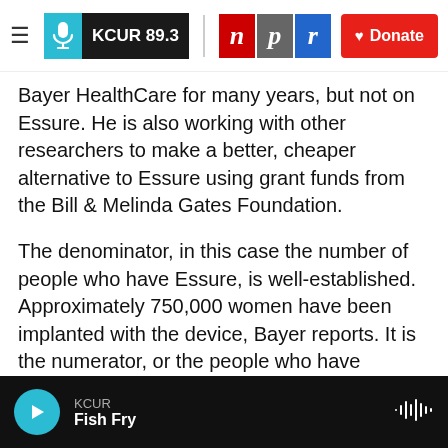KCUR 89.3 | npr | Donate
Bayer HealthCare for many years, but not on Essure. He is also working with other researchers to make a better, cheaper alternative to Essure using grant funds from the Bill & Melinda Gates Foundation.
The denominator, in this case the number of people who have Essure, is well-established. Approximately 750,000 women have been implanted with the device, Bayer reports. It is the numerator, or the people who have problems with the device, where the numbers get fuzzier.
KCUR | Fish Fry